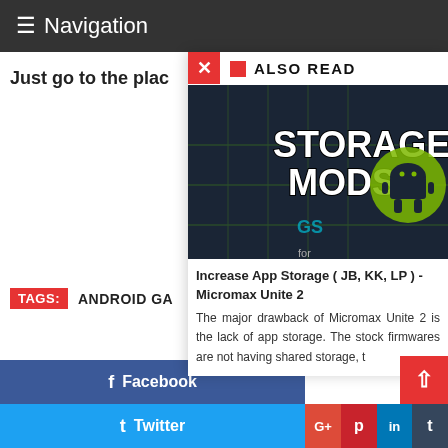≡ Navigation
Just go to the plac
TAGS: ANDROID GA
[Figure (screenshot): Storage Mods image with text STORAGE MODS and Android robot logo on dark circuit board background]
Increase App Storage ( JB, KK, LP ) - Micromax Unite 2
The major drawback of Micromax Unite 2 is the lack of app storage. The stock firmwares are not having shared storage, t
ALSO READ
Facebook
Twitter
G+
P
in
t